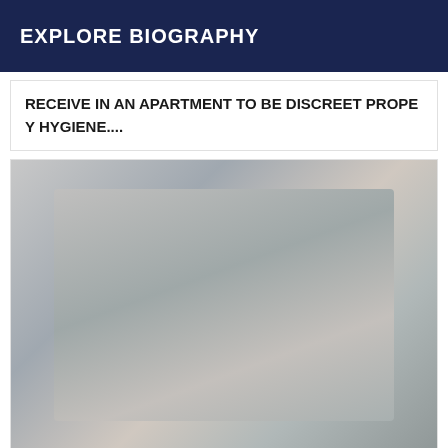EXPLORE BIOGRAPHY
RECEIVE IN AN APARTMENT TO BE DISCREET PROPE Y HYGIENE....
[Figure (photo): A person taking a mirror selfie with a smartphone, wearing a grey t-shirt and dark pants, with long dark hair, photographed at an angle.]